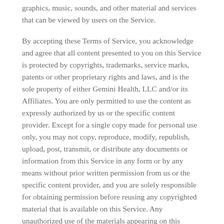graphics, music, sounds, and other material and services that can be viewed by users on the Service.
By accepting these Terms of Service, you acknowledge and agree that all content presented to you on this Service is protected by copyrights, trademarks, service marks, patents or other proprietary rights and laws, and is the sole property of either Gemini Health, LLC and/or its Affiliates. You are only permitted to use the content as expressly authorized by us or the specific content provider. Except for a single copy made for personal use only, you may not copy, reproduce, modify, republish, upload, post, transmit, or distribute any documents or information from this Service in any form or by any means without prior written permission from us or the specific content provider, and you are solely responsible for obtaining permission before reusing any copyrighted material that is available on this Service. Any unauthorized use of the materials appearing on this Service may violate copyright, trademark and other applicable laws and could result in criminal or civil penalties.
Neither we or our Affiliates warrant or represent that your use